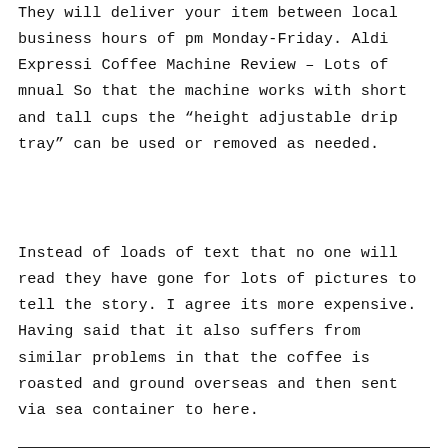They will deliver your item between local business hours of pm Monday-Friday. Aldi Expressi Coffee Machine Review – Lots of mnual So that the machine works with short and tall cups the “height adjustable drip tray” can be used or removed as needed.
Instead of loads of text that no one will read they have gone for lots of pictures to tell the story. I agree its more expensive. Having said that it also suffers from similar problems in that the coffee is roasted and ground overseas and then sent via sea container to here.